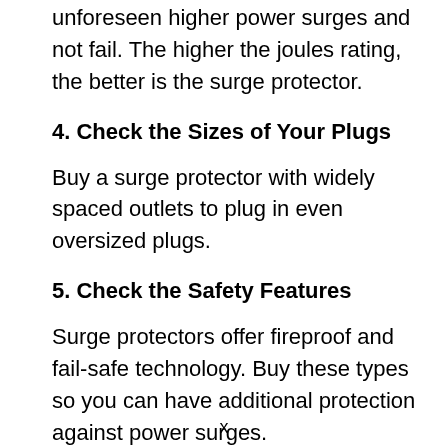unforeseen higher power surges and not fail. The higher the joules rating, the better is the surge protector.
4. Check the Sizes of Your Plugs
Buy a surge protector with widely spaced outlets to plug in even oversized plugs.
5. Check the Safety Features
Surge protectors offer fireproof and fail-safe technology. Buy these types so you can have additional protection against power surges.
x